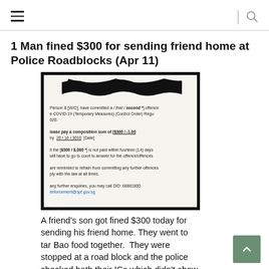≡ | 🔍
1 Man fined $300 for sending friend home at Police Roadblocks (Apr 11)
[Figure (photo): A photo of a fine notice document from Singapore police. The top portion is obscured with a thick black marker scribble. Visible text mentions COVID-19 Temporary Measures Control Order, a composition sum of $300, fourteen (14) days to pay, and DID contact number.]
A friend's son got fined $300 today for sending his friend home. They went to tar Bao food together.  They were stopped at a road block and the police checked both their ICs which didn't show the same